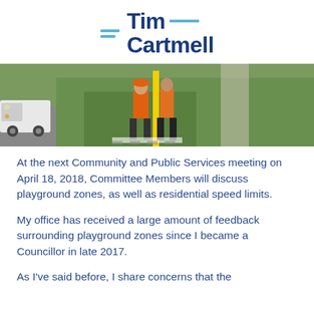[Figure (logo): Tim Cartmell logo with horizontal cyan bars and bold navy text]
[Figure (photo): Two workers in orange safety vests installing a yellow pole/sign on a roadside with a white truck and grassy area with sidewalk in background]
At the next Community and Public Services meeting on April 18, 2018, Committee Members will discuss playground zones, as well as residential speed limits.
My office has received a large amount of feedback surrounding playground zones since I became a Councillor in late 2017.
As I've said before, I share concerns that the